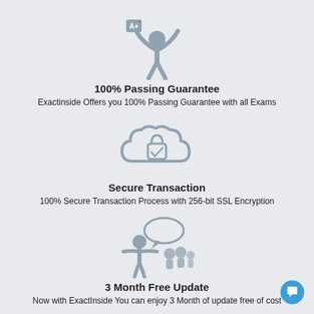[Figure (illustration): Person with arms raised holding an A+ certificate, icon in slate/gray color]
100% Passing Guarantee
Exactinside Offers you 100% Passing Guarantee with all Exams
[Figure (illustration): Cloud with a padlock and checkmark icon, in slate/gray color]
Secure Transaction
100% Secure Transaction Process with 256-bit SSL Encryption
[Figure (illustration): Person presenting/teaching to a group with a speech bubble, icon in slate/gray color]
3 Month Free Update
Now with ExactInside You can enjoy 3 Month of update free of cost